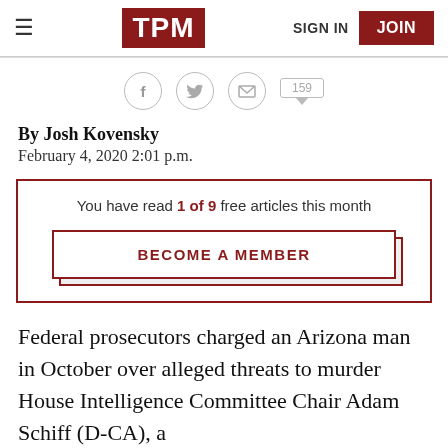TPM  SIGN IN  JOIN
[Figure (infographic): Social sharing icons: Facebook, Twitter, Email, and comment count (159)]
By Josh Kovensky
February 4, 2020 2:01 p.m.
You have read 1 of 9 free articles this month
BECOME A MEMBER
Federal prosecutors charged an Arizona man in October over alleged threats to murder House Intelligence Committee Chair Adam Schiff (D-CA), a